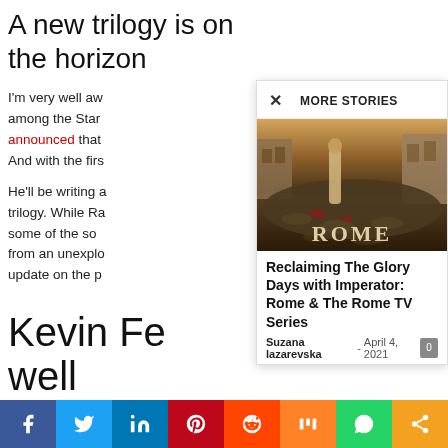A new trilogy is on the horizon
I'm very well aw... among the Star... announced that... And with the firs...
He'll be writing a... trilogy. While Ra... some of the so... from an unexplo... update on the p...
Kevin Fe... well
MORE STORIES
[Figure (photo): A woman in ancient Roman dress standing on a cobblestone street with the word ROME in the lower right corner]
Reclaiming The Glory Days with Imperator: Rome & The Rome TV Series
Suzana lazarevska - April 4, 2021
[Figure (infographic): Social media sharing bar with icons for Facebook, Twitter, LinkedIn, Pinterest, Reddit, Mix, WhatsApp, and Share]